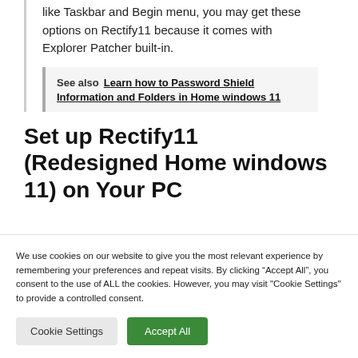like Taskbar and Begin menu, you may get these options on Rectify11 because it comes with Explorer Patcher built-in.
See also  Learn how to Password Shield Information and Folders in Home windows 11
Set up Rectify11 (Redesigned Home windows 11) on Your PC
We use cookies on our website to give you the most relevant experience by remembering your preferences and repeat visits. By clicking “Accept All”, you consent to the use of ALL the cookies. However, you may visit "Cookie Settings" to provide a controlled consent.